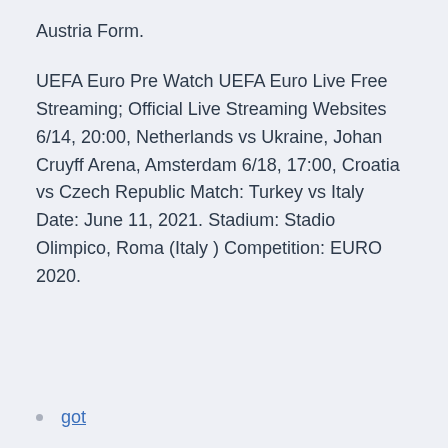Austria Form.
UEFA Euro Pre Watch UEFA Euro Live Free Streaming; Official Live Streaming Websites 6/14, 20:00, Netherlands vs Ukraine, Johan Cruyff Arena, Amsterdam 6/18, 17:00, Croatia vs Czech Republic Match: Turkey vs Italy Date: June 11, 2021. Stadium: Stadio Olimpico, Roma (Italy ) Competition: EURO 2020.
got